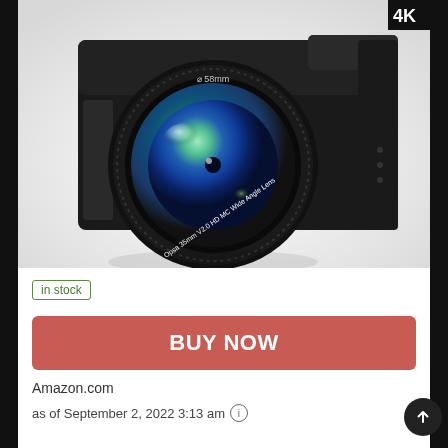[Figure (photo): A black digital camera with a large 58mm wide-angle lens, shown at an angle on a white/grey background with a subtle reflection]
in stock
BUY NOW
Amazon.com
as of September 2, 2022 3:13 am ℹ